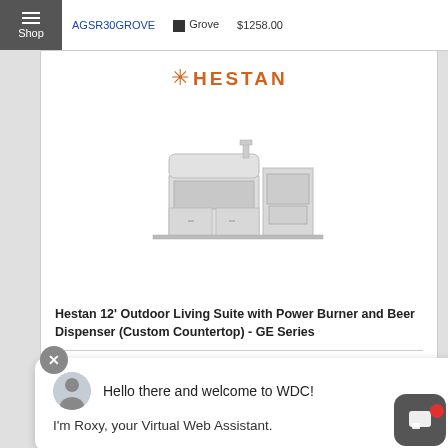Shop
AGSR30GROVE  Grove  $1258.00
[Figure (logo): Hestan brand logo in orange]
[Figure (illustration): Hestan 12-foot outdoor kitchen suite product line drawing, showing grill, side burner, and cabinets]
Hestan 12' Outdoor Living Suite with Power Burner and Beer Dispenser (Custom Countertop) - GE Series
[Figure (screenshot): Chat popup overlay: avatar of customer service rep, text 'Hello there and welcome to WDC!' and 'I'm Roxy, your Virtual Web Assistant.']
[Figure (logo): Hestan brand logo in orange at bottom of page]